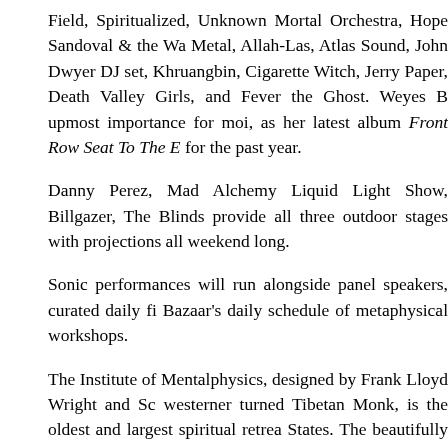Field, Spiritualized, Unknown Mortal Orchestra, Hope Sandoval & the Wa Metal, Allah-Las, Atlas Sound, John Dwyer DJ set, Khruangbin, Cigarette Witch, Jerry Paper, Death Valley Girls, and Fever the Ghost. Weyes B upmost importance for moi, as her latest album Front Row Seat To The E for the past year.
Danny Perez, Mad Alchemy Liquid Light Show, Billgazer, The Blinds provide all three outdoor stages with projections all weekend long.
Sonic performances will run alongside panel speakers, curated daily fi Bazaar's daily schedule of metaphysical workshops.
The Institute of Mentalphysics, designed by Frank Lloyd Wright and Sc westerner turned Tibetan Monk, is the oldest and largest spiritual retrea States. The beautifully maintained grounds of garden paths, fountai architecture rest atop a rare confluence of three underground aquifers ar which causes a palpable energetic effect on those who visit. Audience staying in one of Wright's on site cottages, or camping under the vast, t capacity to provide the kind of personal experience that just can't be had a go to Desert Daze, you profoundly experience Desert Daze.